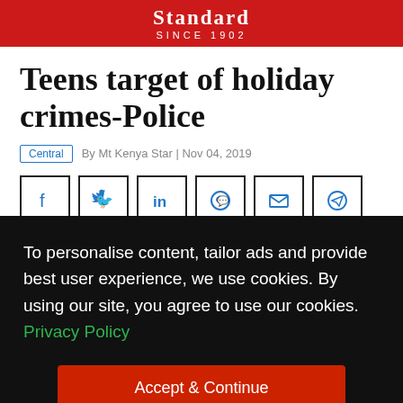Standard SINCE 1902
Teens target of holiday crimes-Police
Central  By Mt Kenya Star | Nov 04, 2019
[Figure (other): Social media share buttons: Facebook, Twitter, LinkedIn, WhatsApp, Email, Telegram]
To personalise content, tailor ads and provide best user experience, we use cookies. By using our site, you agree to use our cookies. Privacy Policy
Accept & Continue